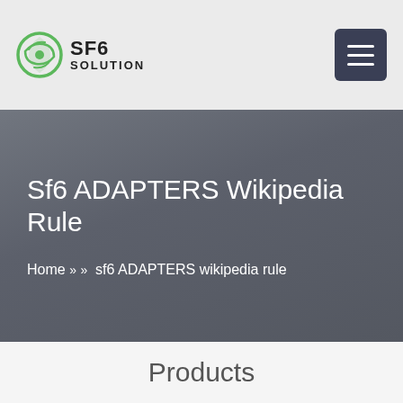SF6 SOLUTION
Sf6 ADAPTERS Wikipedia Rule
Home » » sf6 ADAPTERS wikipedia rule
Products